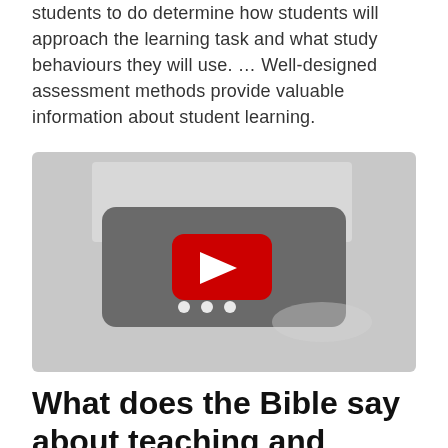students to do determine how students will approach the learning task and what study behaviours they will use. … Well-designed assessment methods provide valuable information about student learning.
[Figure (screenshot): YouTube video thumbnail/embed showing a YouTube play button (red rounded rectangle with white triangle) on a grey blurred background.]
What does the Bible say about teaching and learning?